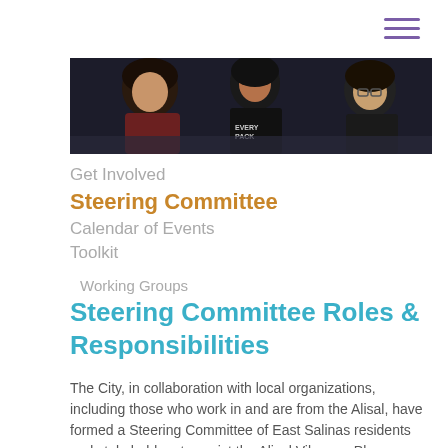[Figure (photo): Photo of three young people seated around a table, appearing to be in a meeting or discussion. One person wearing a shirt with 'EVERY PACK' text visible.]
Get Involved
Steering Committee
Calendar of Events
Toolkit
Working Groups
Steering Committee Roles & Responsibilities
The City, in collaboration with local organizations, including those who work in and are from the Alisal, have formed a Steering Committee of East Salinas residents and stakeholders to assist the Alisal Vibrancy Plan (AVP)...